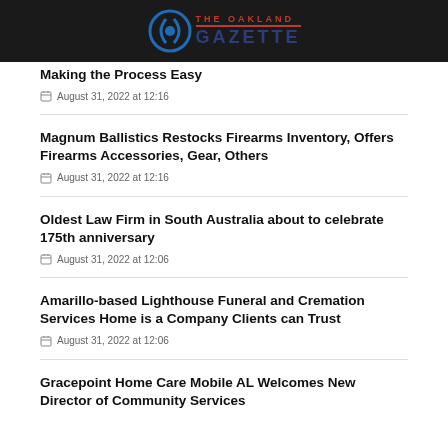The Oakland Gazette
Making the Process Easy
August 31, 2022 at 12:16
Magnum Ballistics Restocks Firearms Inventory, Offers Firearms Accessories, Gear, Others
August 31, 2022 at 12:16
Oldest Law Firm in South Australia about to celebrate 175th anniversary
August 31, 2022 at 12:06
Amarillo-based Lighthouse Funeral and Cremation Services Home is a Company Clients can Trust
August 31, 2022 at 12:06
Gracepoint Home Care Mobile AL Welcomes New Director of Community Services